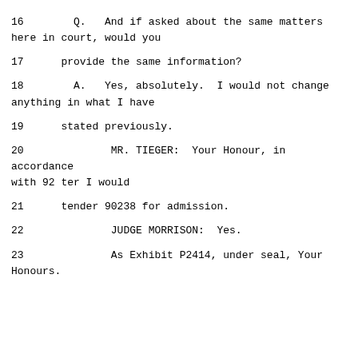16        Q.   And if asked about the same matters here in court, would you
17      provide the same information?
18        A.   Yes, absolutely.  I would not change anything in what I have
19      stated previously.
20              MR. TIEGER:  Your Honour, in accordance with 92 ter I would
21      tender 90238 for admission.
22              JUDGE MORRISON:  Yes.
23              As Exhibit P2414, under seal, Your Honours.